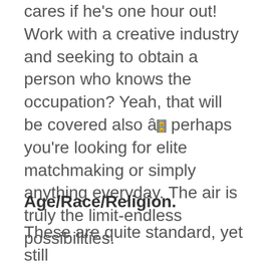cares if he's one hour out! Work with a creative industry and seeking to obtain a person who knows the occupation? Yeah, that will be covered also â perhaps you're looking for elite matchmaking or simply anything everyday. The air is truly the limit-endless possibilities.
Age/Race/Religion.
These are quite standard, yet still even an essential when searching